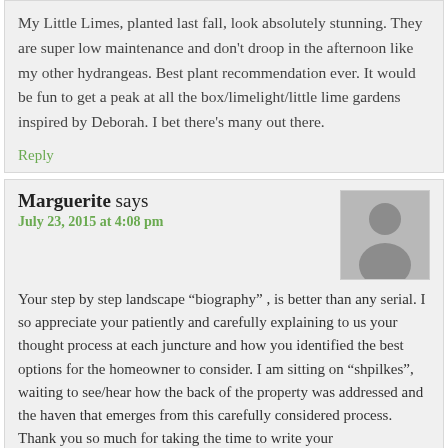My Little Limes, planted last fall, look absolutely stunning. They are super low maintenance and don't droop in the afternoon like my other hydrangeas. Best plant recommendation ever. It would be fun to get a peak at all the box/limelight/little lime gardens inspired by Deborah. I bet there's many out there.
Reply
Marguerite says
July 23, 2015 at 4:08 pm
Your step by step landscape “biography” , is better than any serial. I so appreciate your patiently and carefully explaining to us your thought process at each juncture and how you identified the best options for the homeowner to consider. I am sitting on “shpilkes”, waiting to see/hear how the back of the property was addressed and the haven that emerges from this carefully considered process. Thank you so much for taking the time to write your